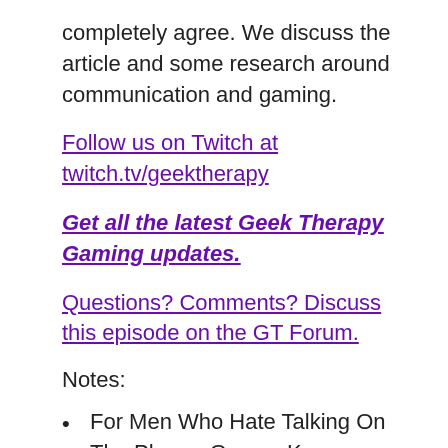completely agree. We discuss the article and some research around communication and gaming.
Follow us on Twitch at twitch.tv/geektherapy
Get all the latest Geek Therapy Gaming updates.
Questions? Comments? Discuss this episode on the GT Forum.
Notes:
For Men Who Hate Talking On The Phone, Games Keep Friendships Alive – http://bit.ly/30RSs6e